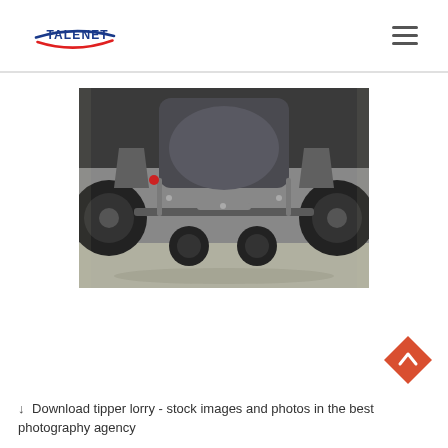TALENET (logo) — hamburger menu
[Figure (photo): Undercarriage view of a tipper lorry/dump truck showing axles, suspension, drive shaft, wheels and chassis components from below, taken on a road surface.]
↓ Download tipper lorry - stock images and photos in the best photography agency